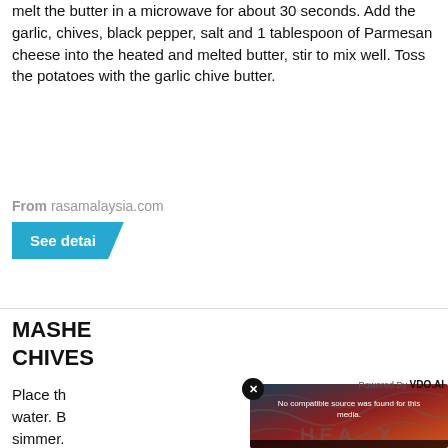melt the butter in a microwave for about 30 seconds. Add the garlic, chives, black pepper, salt and 1 tablespoon of Parmesan cheese into the heated and melted butter, stir to mix well. Toss the potatoes with the garlic chive butter.
From rasamalaysia.com
See detai
MASHE... CHIVES...
Place the... water. B... simmer. ... usually t... before re...
From de...
See d...
[Figure (screenshot): Video player overlay with dark teal-to-red gradient background, topo map lines, text 'No compatible source was found for this media.' and watermark text 'HEA X'. Close button (X circle) top-left. 'Powered By VDO.AI' top-right.]